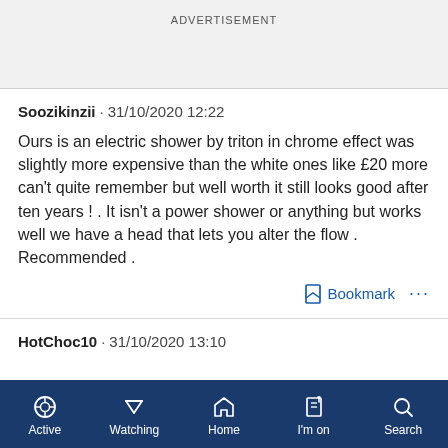ADVERTISEMENT
Soozikinzii · 31/10/2020 12:22
Ours is an electric shower by triton in chrome effect was slightly more expensive than the white ones like £20 more can't quite remember but well worth it still looks good after ten years ! . It isn't a power shower or anything but works well we have a head that lets you alter the flow . Recommended .
Bookmark
HotChoc10 · 31/10/2020 13:10
Active  Watching  Home  I'm on  Search